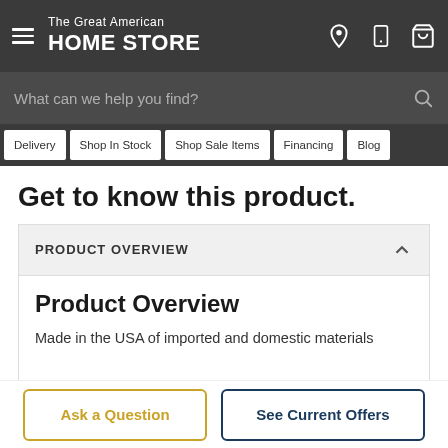The Great American HOME STORE
What can we help you find?
Delivery
Shop In Stock
Shop Sale Items
Financing
Blog
Get to know this product.
PRODUCT OVERVIEW
Product Overview
Made in the USA of imported and domestic materials
Ask a Question
See Current Offers